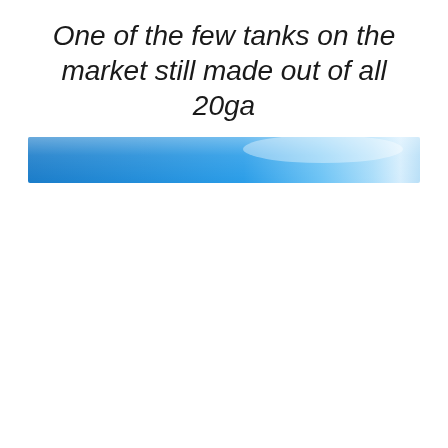One of the few tanks on the market still made out of all 20ga
[Figure (illustration): A horizontal blue gradient bar with a lighter blue highlight/sheen on the right side, spanning the width of the content area.]